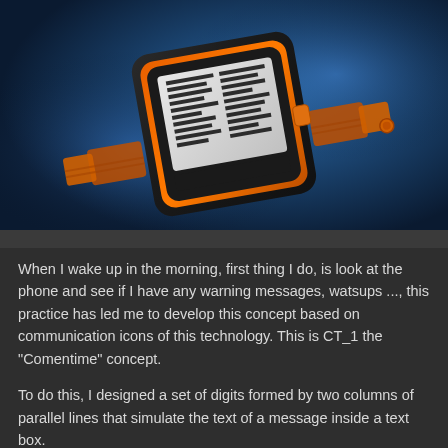[Figure (photo): 3D rendered concept smartwatch with orange and black design. The watch has a square face displaying a digital pattern of horizontal lines arranged in two columns. The band is segmented and orange/black colored. Background is dark blue with bokeh lighting effects.]
When I wake up in the morning, first thing I do, is look at the phone and see if I have any warning messages, watsups ..., this practice has led me to develop this concept based on communication icons of this technology. This is CT_1 the "Comentime" concept.
To do this, I designed a set of digits formed by two columns of parallel lines that simulate the text of a message inside a text box.